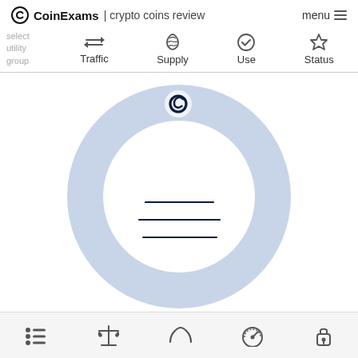CoinExams | crypto coins review  menu
select utility group
Traffic  Supply  Use  Status
[Figure (infographic): Large donut/ring chart with a CoinExams logo icon at the top and three horizontal lines (loading placeholders) in the center. The ring is light blue/lavender colored.]
Bottom navigation bar with icons: list, balance scale, arc/bridge, speedometer/gauge, key/lock